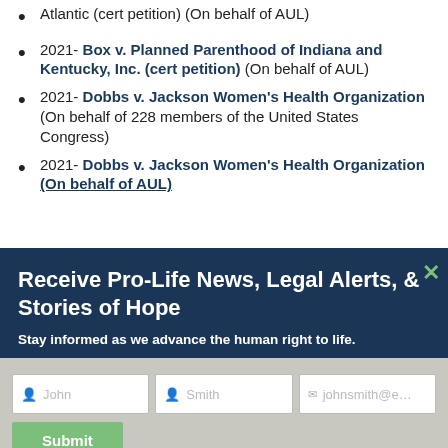2021- Box v. Planned Parenthood of Indiana and Kentucky, Inc. (cert petition) (On behalf of AUL)
2021- Dobbs v. Jackson Women's Health Organization (On behalf of 228 members of the United States Congress)
2021- Dobbs v. Jackson Women's Health Organization (On behalf of AUL)
Receive Pro-Life News, Legal Alerts, & Stories of Hope
Stay informed as we advance the human right to life.